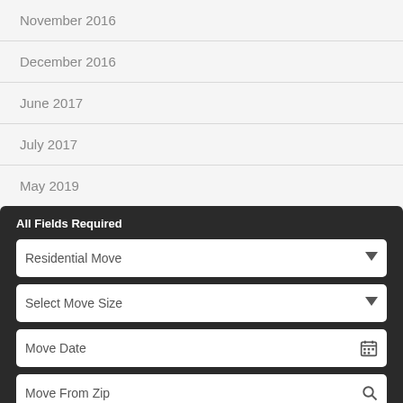November 2016
December 2016
June 2017
July 2017
May 2019
All Fields Required
Residential Move
Select Move Size
Move Date
Move From Zip
Move To Zip